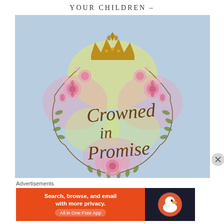YOUR CHILDREN –
[Figure (illustration): Watercolor illustration with light blue background. A decorative wreath made of hand-drawn branches, leaves, and pink roses/flowers forms a circle. Inside the wreath is cursive text reading 'Crowned in Promise'. At the top of the wreath is a golden crown with a small fleur-de-lis ornament above it. Yellow and pink watercolor washes behind the crown and throughout the wreath.]
Advertisements
[Figure (screenshot): DuckDuckGo advertisement banner. Orange/red left side with white bold text: 'Search, browse, and email with more privacy.' and 'All in One Free App'. Dark right side with DuckDuckGo duck logo.]